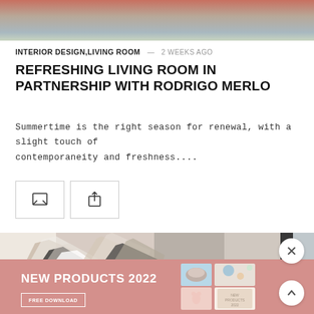[Figure (photo): Top portion of a living room interior design photo showing warm tones of brown, beige and teal]
INTERIOR DESIGN,LIVING ROOM — 2 WEEKS AGO
REFRESHING LIVING ROOM IN PARTNERSHIP WITH RODRIGO MERLO
Summertime is the right season for renewal, with a slight touch of contemporaneity and freshness....
[Figure (other): Comment and share action buttons]
[Figure (photo): Interior design mood board image with geometric shapes and material textures in beige, black and white tones]
[Figure (infographic): Advertisement banner: NEW PRODUCTS 2022, FREE DOWNLOAD, with product collage on salmon/dusty rose background]